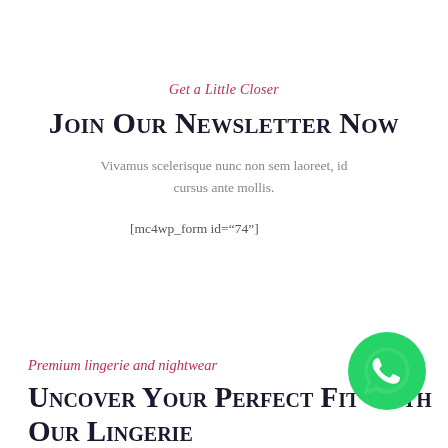Get a Little Closer
Join Our Newsletter Now
Vivamus scelerisque nunc non sem laoreet, id cursus ante mollis.
[mc4wp_form id="74"]
Premium lingerie and nightwear
Uncover Your Perfect Fit With Our Lingerie
[Figure (logo): WhatsApp green circle button with phone handset icon]